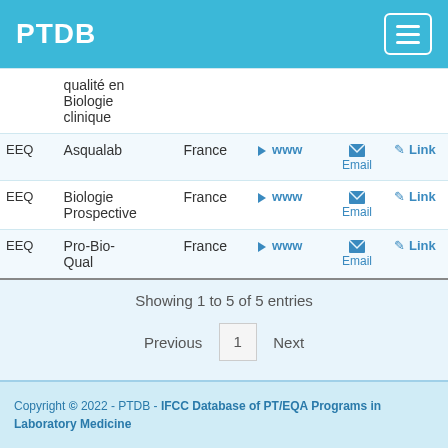PTDB
| Type | Name | Country | WWW | Email | Link |
| --- | --- | --- | --- | --- | --- |
|  | qualité en Biologie clinique |  |  |  |  |
| EEQ | Asqualab | France | www | Email | Link |
| EEQ | Biologie Prospective | France | www | Email | Link |
| EEQ | Pro-Bio-Qual | France | www | Email | Link |
Showing 1 to 5 of 5 entries
Previous  1  Next
Copyright © 2022 - PTDB - IFCC Database of PT/EQA Programs in Laboratory Medicine